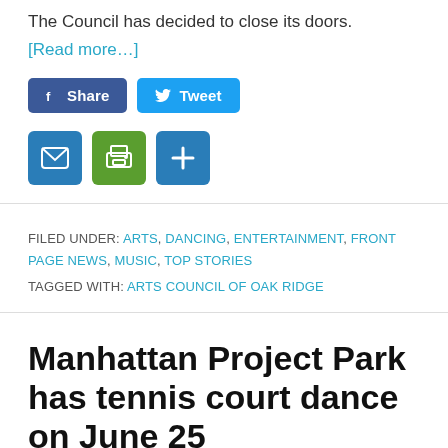The Council has decided to close its doors.
[Read more…]
[Figure (infographic): Social share buttons: Facebook Share button (blue) and Twitter Tweet button (light blue), plus email icon (blue), print icon (green), and add/plus icon (blue)]
FILED UNDER: ARTS, DANCING, ENTERTAINMENT, FRONT PAGE NEWS, MUSIC, TOP STORIES
TAGGED WITH: ARTS COUNCIL OF OAK RIDGE
Manhattan Project Park has tennis court dance on June 25